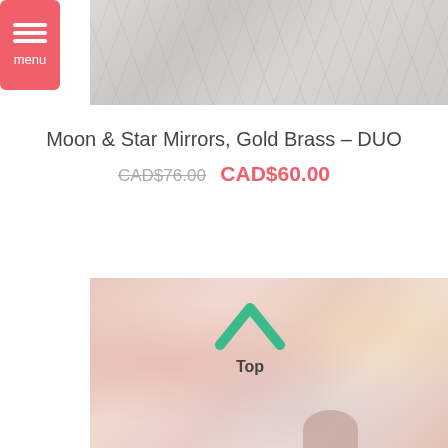[Figure (photo): Top portion of product image showing white/grey marble or textured background]
Moon & Star Mirrors, Gold Brass – DUO
CAD$76.00   CAD$60.00
[Figure (photo): Bottom product lifestyle photo with blurred pink and warm background showing a 'Top' back-to-top button overlay with green chevron arrow and 'Top' label]